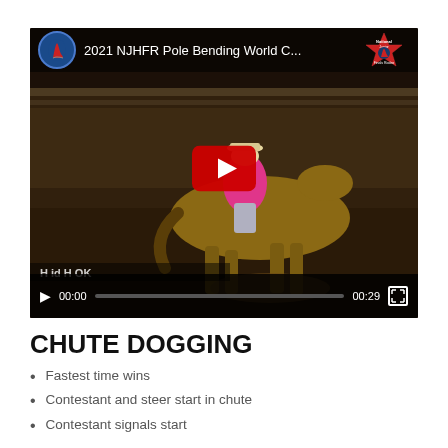[Figure (screenshot): YouTube video thumbnail showing 2021 NJHFR Pole Bending World Championship rodeo video. A rider in pink shirt on a brown horse is visible. The video player shows 00:00 / 00:29 timestamp. A red YouTube play button is overlaid in the center. Top bar shows NJHFR logo and title '2021 NJHFR Pole Bending World C...' with National Junior Finals Rodeo star badge.]
CHUTE DOGGING
Fastest time wins
Contestant and steer start in chute
Contestant signals start